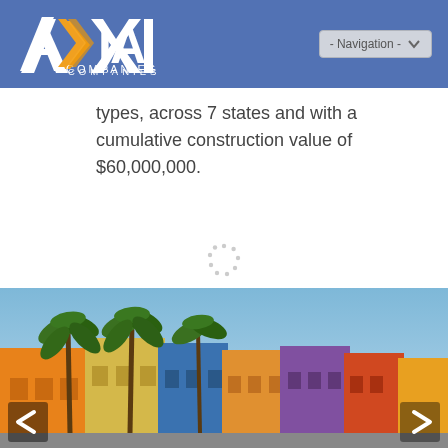AXIA COMPANIES — Navigation
types, across 7 states and with a cumulative construction value of $60,000,000.
[Figure (photo): Row of colorful residential buildings (orange, yellow, blue, purple) with palm trees against a blue sky, with left/right navigation arrows]
[Figure (other): Loading spinner indicator (circular dots pattern)]